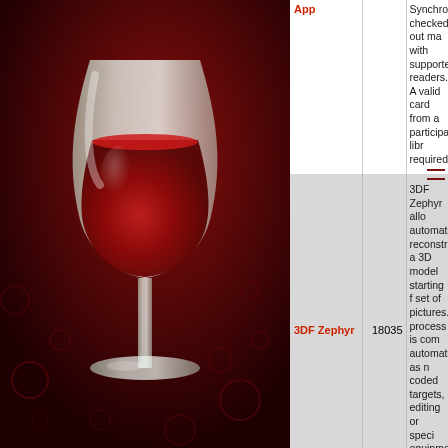[Figure (illustration): Wine glass with red wine on a dark red background with bubble decorations — WineHQ logo style illustration]
| App | ID | Description |
| --- | --- | --- |
| App |  | Synchronizing checked out materials with supported readers. A valid card from a participating library required. |
| 3DF Zephyr | 18035 | 3DF Zephyr allows to automatically reconstruct a 3D model starting from a set of pictures. The process is completely automatic, as no coded targets, manual editing or special equipment are needed. |
| 3DEM | 13579 | 3d mapping geo visualization |
|  |  | This application fool applications... |